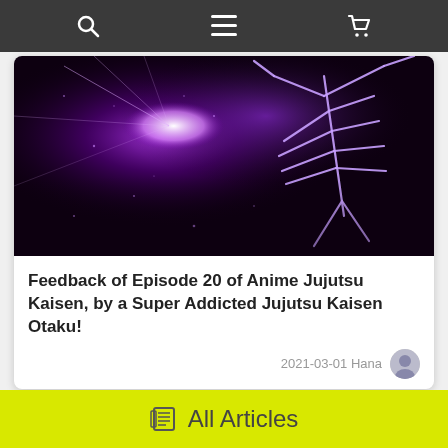[navigation bar with search, menu, and cart icons]
[Figure (illustration): Dark purple/violet anime scene showing a glowing skeletal or energy figure against a dark background with purple light and particles, from Jujutsu Kaisen Episode 20]
Feedback of Episode 20 of Anime Jujutsu Kaisen, by a Super Addicted Jujutsu Kaisen Otaku!
2021-03-01 Hana
Popular Articles
All Articles